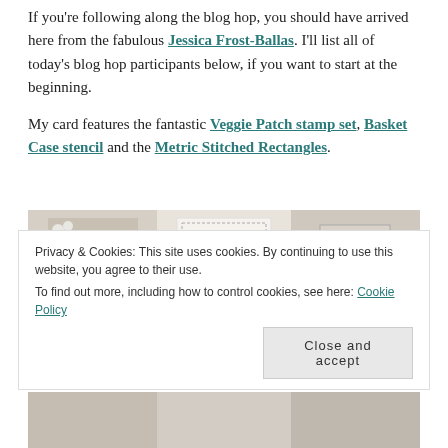If you're following along the blog hop, you should have arrived here from the fabulous Jessica Frost-Ballas. I'll list all of today's blog hop participants below, if you want to start at the beginning.
My card features the fantastic Veggie Patch stamp set, Basket Case stencil and the Metric Stitched Rectangles.
[Figure (photo): A collage-style photo showing craft supplies: stamped images of vegetables on the left, a handmade card in the center with a basket-weave pattern and cute carrot/vegetable characters, and a stitched rectangle frame on the right with sequins.]
Privacy & Cookies: This site uses cookies. By continuing to use this website, you agree to their use. To find out more, including how to control cookies, see here: Cookie Policy
[Figure (photo): Bottom strip showing additional craft/card photos.]